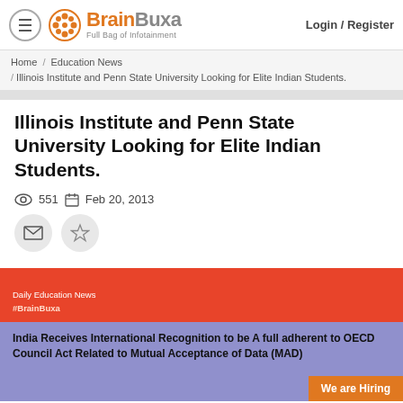BrainBuxa – Full Bag of Infotainment | Login / Register
Home / Education News / Illinois Institute and Penn State University Looking for Elite Indian Students.
Illinois Institute and Penn State University Looking for Elite Indian Students.
551  Feb 20, 2013
[Figure (infographic): BrainBuxa Daily Education News banner with red top section showing '#BrainBuxa' and blue lower section showing 'India Receives International Recognition to be A full adherent to OECD Council Act Related to Mutual Acceptance of Data (MAD)' with 'We are Hiring' badge]